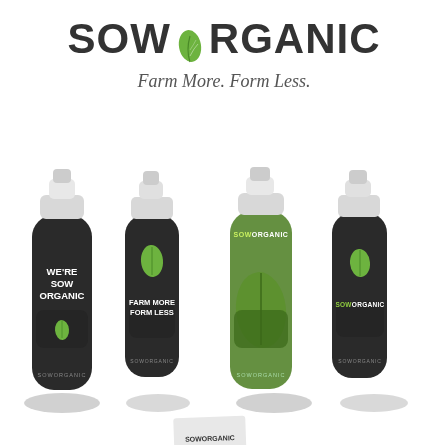[Figure (logo): SOW ORGANIC logo with green leaf icon between SOW and ORGANIC text, tagline Farm More. Form Less. below]
[Figure (photo): Four branded water bottles on white background: first dark bottle with WE'RE SOW ORGANIC text and leaf logo; second dark bottle with leaf logo and FARM MORE FORM LESS text; third green transparent bottle with SOWORGANIC text and large leaf graphic; fourth dark bottle with leaf logo and SOWORGANIC text. A partially visible business card at the bottom center.]